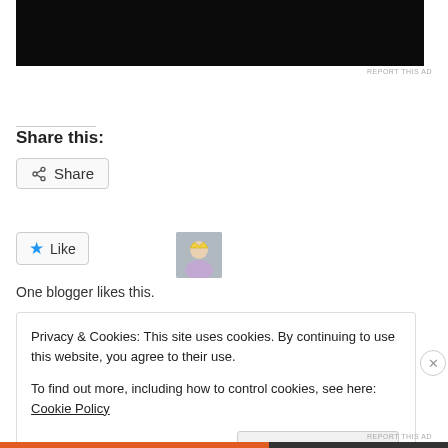[Figure (photo): Black rectangle representing an advertisement image at the top of the page]
REPORT THIS AD
Share this:
[Figure (other): Share button with share icon and 'Share' label, outlined in light grey]
[Figure (other): Like button with blue star icon and 'Like' label, followed by a small avatar photo of a woman wearing a crown]
One blogger likes this.
Privacy & Cookies: This site uses cookies. By continuing to use this website, you agree to their use.
To find out more, including how to control cookies, see here: Cookie Policy
Close and accept